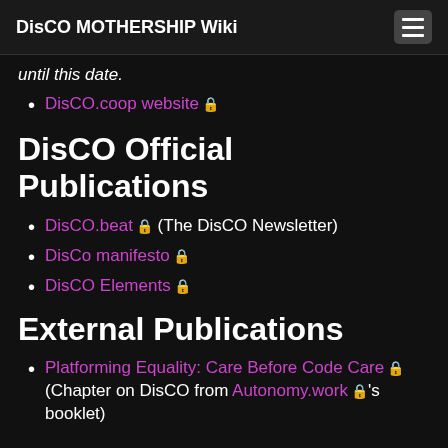DisCO MOTHERSHIP Wiki
until this date.
DisCO.coop website 🔒
DisCO Official Publications
DisCO.beat 🔒 (The DisCO Newsletter)
DisCo manifesto 🔒
DisCO Elements 🔒
External Publications
Platforming Equality: Care Before Code Care 🔒 (Chapter on DisCO from Autonomy.work 🔒's booklet)